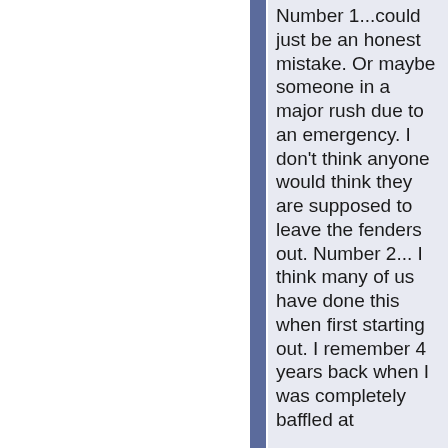Number 1...could just be an honest mistake. Or maybe someone in a major rush due to an emergency. I don't think anyone would think they are supposed to leave the fenders out. Number 2... I think many of us have done this when first starting out. I remember 4 years back when I was completely baffled at